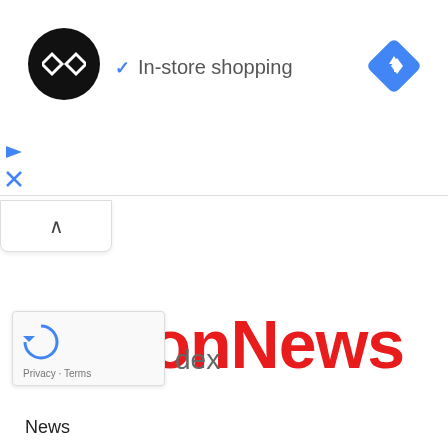[Figure (logo): Black circle logo with two overlapping diamond/arrow shapes in white (loop/infinity style icon)]
✓ In-store shopping
[Figure (logo): Blue diamond-shaped navigation/directions icon with white right-turn arrow]
[Figure (screenshot): Play triangle icon in blue and X close icon in blue]
[Figure (other): Collapse/chevron up button tab]
[Figure (logo): NationNews logo in bold red text]
dex
News
[Figure (other): reCAPTCHA widget with spinning arrows icon and Privacy - Terms links]